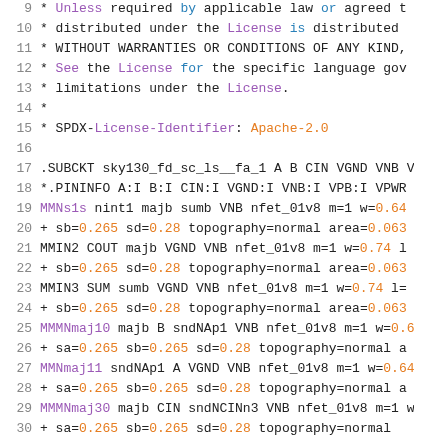Source code / SPICE netlist with license header and subcircuit definition
9: * Unless required by applicable law or agreed to
10: * distributed under the License is distributed
11: * WITHOUT WARRANTIES OR CONDITIONS OF ANY KIND,
12: * See the License for the specific language gove
13: * limitations under the License.
14: *
15: * SPDX-License-Identifier: Apache-2.0
16:
17: .SUBCKT sky130_fd_sc_ls__fa_1 A B CIN VGND VNB V
18: *.PININFO A:I B:I CIN:I VGND:I VNB:I VPB:I VPWR
19: MMNs1s nint1 majb sumb VNB nfet_01v8 m=1 w=0.64
20: + sb=0.265 sd=0.28 topography=normal area=0.063
21: MMIN2 COUT majb VGND VNB nfet_01v8 m=1 w=0.74 l
22: + sb=0.265 sd=0.28 topography=normal area=0.063
23: MMIN3 SUM sumb VGND VNB nfet_01v8 m=1 w=0.74 l=
24: + sb=0.265 sd=0.28 topography=normal area=0.063
25: MMMNmaj10 majb B sndNAp1 VNB nfet_01v8 m=1 w=0.6
26: + sa=0.265 sb=0.265 sd=0.28 topography=normal a
27: MMNmaj11 sndNAp1 A VGND VNB nfet_01v8 m=1 w=0.64
28: + sa=0.265 sb=0.265 sd=0.28 topography=normal a
29: MMMNmaj30 majb CIN sndNCINn3 VNB nfet_01v8 m=1 w
30: + sa=0.265 sb=0.265 sd=0.28 topography=normal